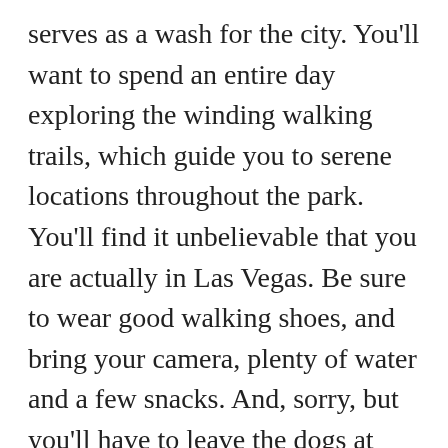serves as a wash for the city. You'll want to spend an entire day exploring the winding walking trails, which guide you to serene locations throughout the park. You'll find it unbelievable that you are actually in Las Vegas. Be sure to wear good walking shoes, and bring your camera, plenty of water and a few snacks. And, sorry, but you'll have to leave the dogs at home. Trail Hours: 6 AM – 11 PM; Fee: FREE. For more information about Clark County Wetlands Park, call 702-455-7522 or visit http://www.clarkcountynv.gov/wetlandspa (Above photo taken at Clark County Wetlands